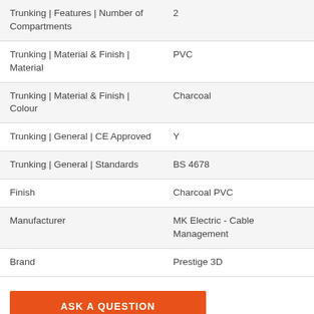| Attribute | Value |
| --- | --- |
| Trunking | Features | Number of Compartments | 2 |
| Trunking | Material & Finish | Material | PVC |
| Trunking | Material & Finish | Colour | Charcoal |
| Trunking | General | CE Approved | Y |
| Trunking | General | Standards | BS 4678 |
| Finish | Charcoal PVC |
| Manufacturer | MK Electric - Cable Management |
| Brand | Prestige 3D |
ASK A QUESTION